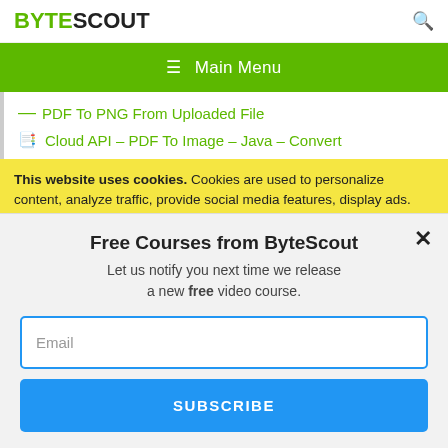BYTESCOUT
≡  Main Menu
PDF To PNG From Uploaded File
Cloud API – PDF To Image – Java – Convert
This website uses cookies. Cookies are used to personalize content, analyze traffic, provide social media features, display ads. We also share
Free Courses from ByteScout
Let us notify you next time we release a new free video course.
Email
SUBSCRIBE